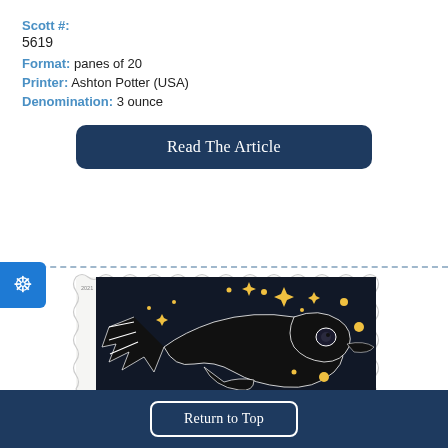Scott #:
5619
Format: panes of 20
Printer: Ashton Potter (USA)
Denomination: 3 ounce
Read The Article
[Figure (illustration): A US postage stamp featuring a Native American (Pacific Northwest / Tlingit-style) Raven design in black with gold star/diamond sparkles on a white background. The stamp has a perforated wavy edge border. The left side reads 'FOREVER' vertically and '2021' at top. The stamp is cropped at the bottom.]
Return to Top